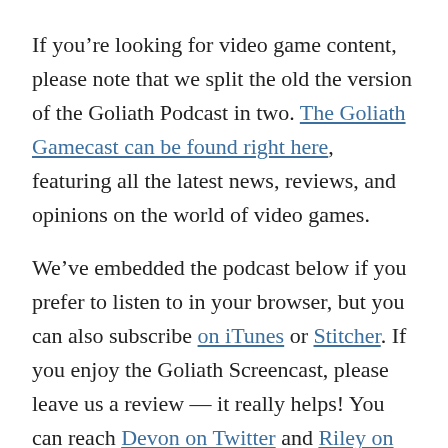If you're looking for video game content, please note that we split the old the version of the Goliath Podcast in two. The Goliath Gamecast can be found right here, featuring all the latest news, reviews, and opinions on the world of video games.
We've embedded the podcast below if you prefer to listen to in your browser, but you can also subscribe on iTunes or Stitcher. If you enjoy the Goliath Screencast, please leave us a review — it really helps! You can reach Devon on Twitter and Riley on Twitter or Instagram. If you have any questions, comments, or suggestions, feel free to reach out to us. You can also contact us at the Goliath Facebook Page.